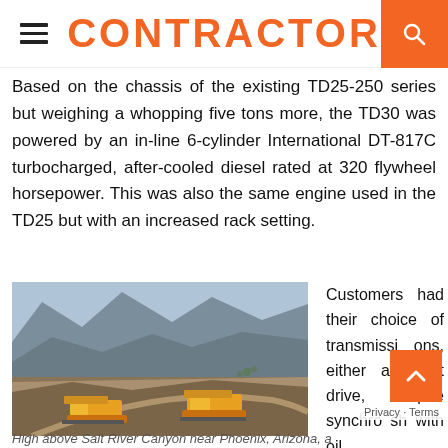CONTRACTOR
Based on the chassis of the existing TD25-250 series but weighing a whopping five tons more, the TD30 was powered by an in-line 6-cylinder International DT-817C turbocharged, after-cooled diesel rated at 320 flywheel horsepower. This was also the same engine used in the TD25 but with an increased rack setting.
[Figure (photo): Yellow bulldozers working on a steep mountain road cut high above Salt River Canyon near Phoenix, Arizona. A TD30 dozer is prominently visible in rocky terrain.]
Customers had their choice of transmissions, either a direct drive, 4-speed synchromesh with oil
High above Salt River Canyon near Phoenix, Arizona, a TD30